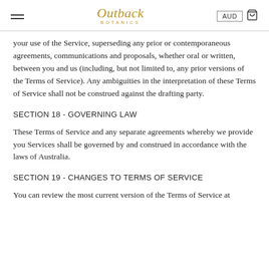Outback BOTANICS | AUD
your use of the Service, superseding any prior or contemporaneous agreements, communications and proposals, whether oral or written, between you and us (including, but not limited to, any prior versions of the Terms of Service). Any ambiguities in the interpretation of these Terms of Service shall not be construed against the drafting party.
SECTION 18 - GOVERNING LAW
These Terms of Service and any separate agreements whereby we provide you Services shall be governed by and construed in accordance with the laws of Australia.
SECTION 19 - CHANGES TO TERMS OF SERVICE
You can review the most current version of the Terms of Service at